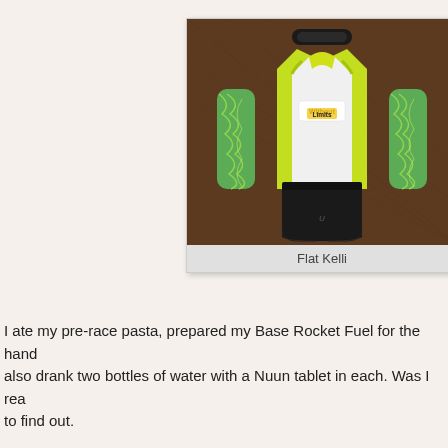[Figure (photo): Flat lay photo of athletic race outfit including a yellow/white 'Without Limits' tank top, green patterned arm sleeves, black Under Armour compression shorts, and a black headband, laid out on a brown textured surface.]
Flat Kelli
I ate my pre-race pasta, prepared my Base Rocket Fuel for the hand also drank two bottles of water with a Nuun tablet in each. Was I rea to find out.